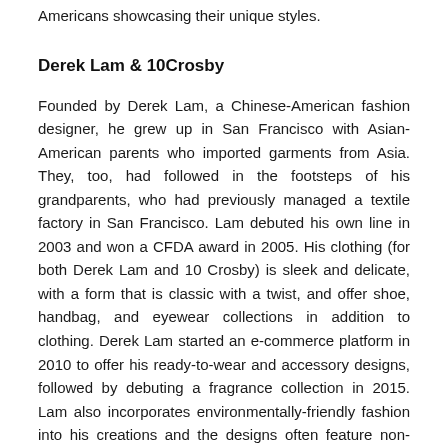Americans showcasing their unique styles.
Derek Lam & 10Crosby
Founded by Derek Lam, a Chinese-American fashion designer, he grew up in San Francisco with Asian-American parents who imported garments from Asia. They, too, had followed in the footsteps of his grandparents, who had previously managed a textile factory in San Francisco. Lam debuted his own line in 2003 and won a CFDA award in 2005. His clothing (for both Derek Lam and 10 Crosby) is sleek and delicate, with a form that is classic with a twist, and offer shoe, handbag, and eyewear collections in addition to clothing. Derek Lam started an e-commerce platform in 2010 to offer his ready-to-wear and accessory designs, followed by debuting a fragrance collection in 2015. Lam also incorporates environmentally-friendly fashion into his creations and the designs often feature non-chromed leather and eco-viscose. He's currently also expanding on the use of recycled cashmere and polyester,